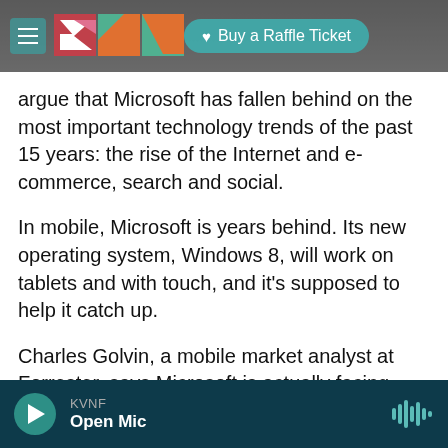KVMF — Buy a Raffle Ticket
argue that Microsoft has fallen behind on the most important technology trends of the past 15 years: the rise of the Internet and e-commerce, search and social.
In mobile, Microsoft is years behind. Its new operating system, Windows 8, will work on tablets and with touch, and it's supposed to help it catch up.
Charles Golvin, a mobile market analyst at Forrester, says Microsoft is actually facing three enormous, focused, well-managed adversaries:
KVNF — Open Mic